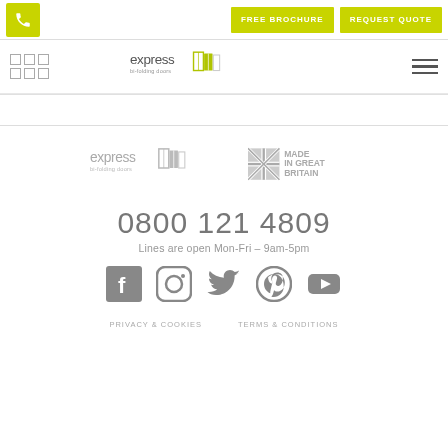FREE BROCHURE | REQUEST QUOTE
[Figure (logo): Express bi-folding doors logo in header navigation bar]
[Figure (logo): Express bi-folding doors logo (grey) and Made in Great Britain logo in footer]
0800 121 4809
Lines are open Mon-Fri – 9am-5pm
[Figure (other): Social media icons: Facebook, Instagram, Twitter, Pinterest, YouTube]
PRIVACY & COOKIES   TERMS & CONDITIONS